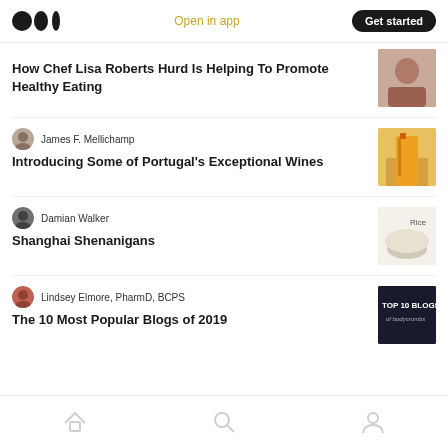Medium — Open in app — Get started
How Chef Lisa Roberts Hurd Is Helping To Promote Healthy Eating
James F. Mellichamp
Introducing Some of Portugal's Exceptional Wines
Damian Walker
Shanghai Shenanigans
Lindsey Elmore, PharmD, BCPS
The 10 Most Popular Blogs of 2019